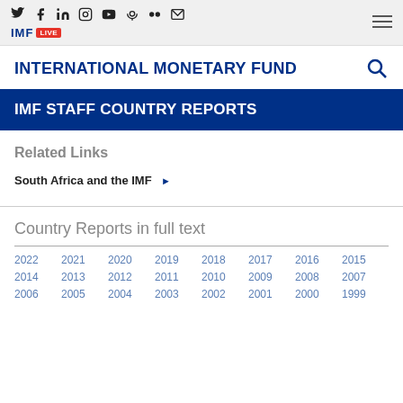IMF LIVE — International Monetary Fund navigation header with social icons
INTERNATIONAL MONETARY FUND
IMF STAFF COUNTRY REPORTS
Related Links
South Africa and the IMF ▶
Country Reports in full text
2022 2021 2020 2019 2018 2017 2016 2015 2014 2013 2012 2011 2010 2009 2008 2007 2006 2005 2004 2003 2002 2001 2000 1999